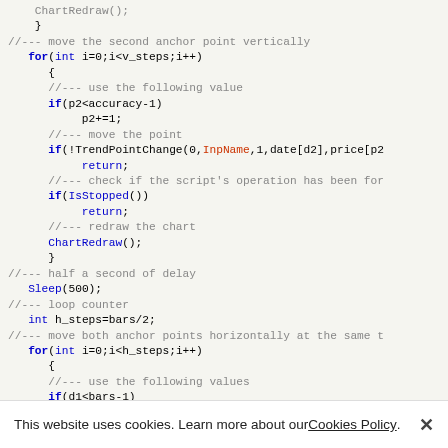[Figure (screenshot): Code snippet showing MQL5/MQL4 script with functions ChartRedraw(), TrendPointChange(), IsStopped(), Sleep(), and loop constructs for moving anchor points vertically and horizontally on a chart.]
This website uses cookies. Learn more about our Cookies Policy. ×